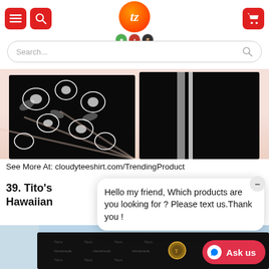Navigation header with menu, search, and cart icons, and Teezonecs logo
Search...
[Figure (photo): Two Hawaiian-style shirts on a light pink background: left shirt is black with white floral pattern, right shirt is black with two vertical gray stripes]
See More At: cloudyteeshirt.com/TrendingProduct
39. Tito's Hawaiian
Hello my friend, Which products are you looking for ? Please text us.Thank you !
[Figure (photo): Black fabric with Tito's branding/logos repeated as pattern, sky with palm trees in background]
Ask us